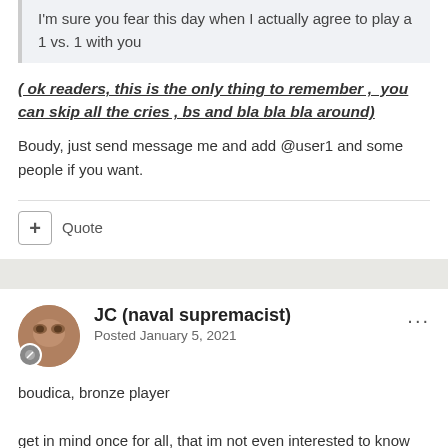I'm sure you fear this day when I actually agree to play a 1 vs. 1 with you
( ok readers, this is the only thing to remember ,  you can skip all the cries , bs and bla bla bla around)
Boudy, just send message me and add @user1 and some people if you want.
Quote
JC (naval supremacist)
Posted January 5, 2021
boudica, bronze player
get in mind once for all, that im not even interested to know who is better in TG( did i even started a single debate on the subject)